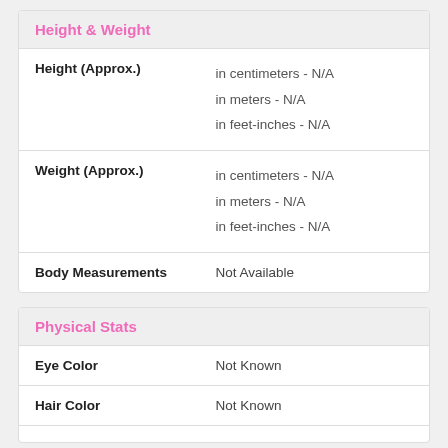Height & Weight
| Height (Approx.) | in centimeters - N/A
in meters - N/A
in feet-inches - N/A |
| Weight (Approx.) | in centimeters - N/A
in meters - N/A
in feet-inches - N/A |
| Body Measurements | Not Available |
Physical Stats
| Eye Color | Not Known |
| Hair Color | Not Known |